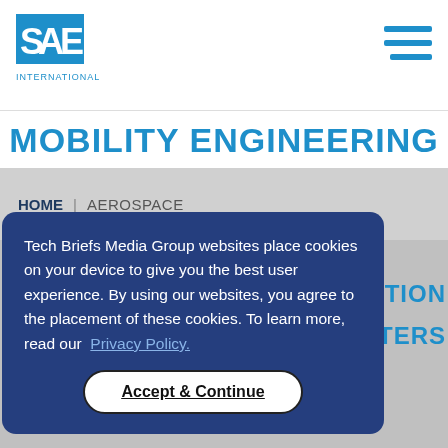[Figure (logo): SAE International logo — blue stylized text SAE with INTERNATIONAL below]
[Figure (other): Hamburger menu icon — three horizontal blue lines]
MOBILITY ENGINEERING
HOME | AEROSPACE
Tech Briefs Media Group websites place cookies on your device to give you the best user experience. By using our websites, you agree to the placement of these cookies. To learn more, read our Privacy Policy.
Accept & Continue